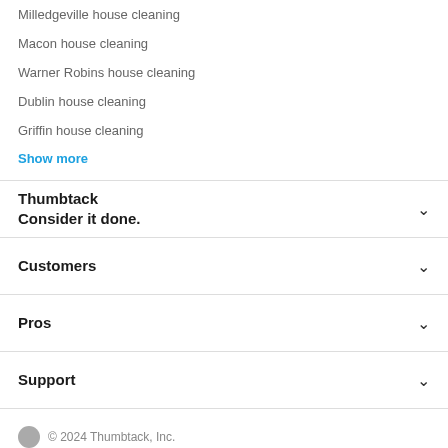Milledgeville house cleaning
Macon house cleaning
Warner Robins house cleaning
Dublin house cleaning
Griffin house cleaning
Show more
Thumbtack
Consider it done.
Customers
Pros
Support
© 2024 Thumbtack, Inc.